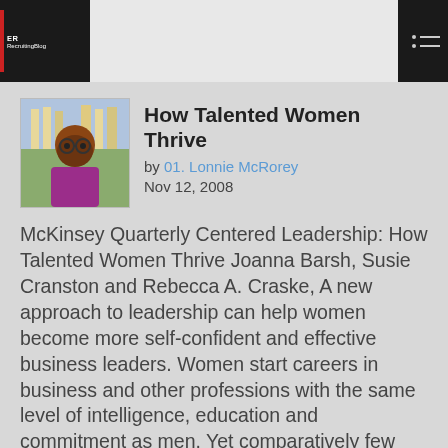ERRecruitingBlog
How Talented Women Thrive
by 01. Lonnie McRorey
Nov 12, 2008
McKinsey Quarterly Centered Leadership: How Talented Women Thrive Joanna Barsh, Susie Cranston and Rebecca A. Craske, A new approach to leadership can help women become more self-confident and effective business leaders. Women start careers in business and other professions with the same level of intelligence, education and commitment as men. Yet comparatively few reach the top echelons. This gap matters not only because the familiar glass ceiling is unfair, but also because the world has an increasingly urgent need for more leaders. All men and women with the brains, the desire and the perseverance to lead should be encouraged to fulfill their potential and leave their mark. With all this in mind, the McKinsey Leadership Project